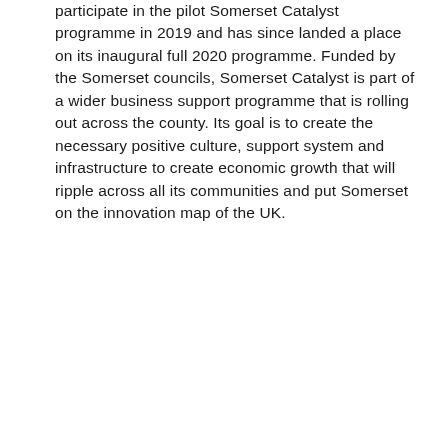participate in the pilot Somerset Catalyst programme in 2019 and has since landed a place on its inaugural full 2020 programme. Funded by the Somerset councils, Somerset Catalyst is part of a wider business support programme that is rolling out across the county. Its goal is to create the necessary positive culture, support system and infrastructure to create economic growth that will ripple across all its communities and put Somerset on the innovation map of the UK.